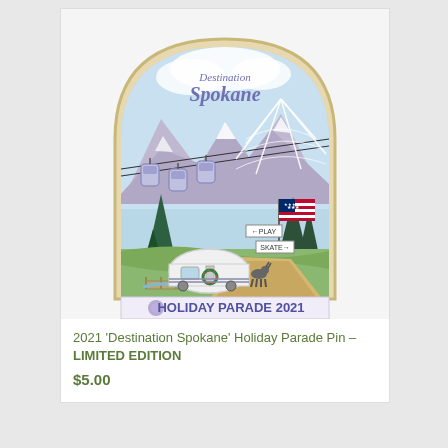[Figure (illustration): Enamel pin illustration shaped like an arched window/badge. Features 'Destination Spokane' text at top in purple script, a winter mountain scene with gondola cars, snow-capped mountains, evergreen trees, a vintage white camper/trailer with a Christmas wreath, a US flag on a pole with directional signs reading 'PLAY' and 'SKATE', a bridge, and a mountain goat. Bottom banner reads 'HOLIDAY PARADE 2021' with a decorative snowflake/poinsettia graphic.]
2021 'Destination Spokane' Holiday Parade Pin – LIMITED EDITION
$5.00